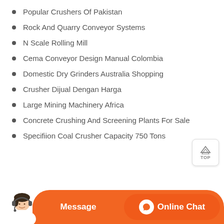Popular Crushers Of Pakistan
Rock And Quarry Conveyor Systems
N Scale Rolling Mill
Cema Conveyor Design Manual Colombia
Domestic Dry Grinders Australia Shopping
Crusher Dijual Dengan Harga
Large Mining Machinery Africa
Concrete Crushing And Screening Plants For Sale
Specifiion Coal Crusher Capacity 750 Tons
[Figure (other): Customer service representative avatar with headset, orange Message button and Online Chat button at the bottom of the page]